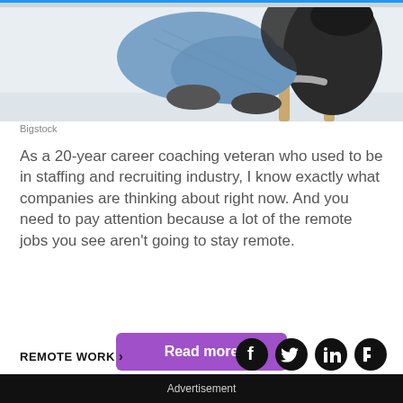[Figure (photo): Person sitting in a modern chair, wearing jeans, viewed from behind/side angle, cropped at top of page]
Bigstock
As a 20-year career coaching veteran who used to be in staffing and recruiting industry, I know exactly what companies are thinking about right now. And you need to pay attention because a lot of the remote jobs you see aren't going to stay remote.
Read more
REMOTE WORK ›
Advertisement